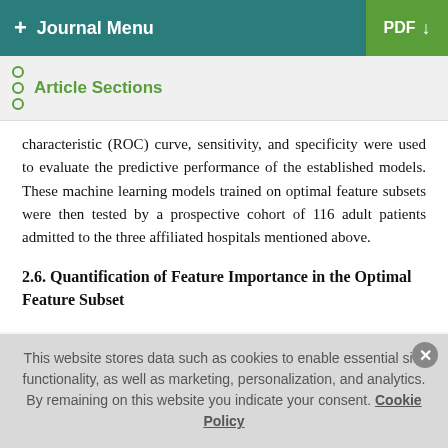+ Journal Menu   PDF ↓
Article Sections
characteristic (ROC) curve, sensitivity, and specificity were used to evaluate the predictive performance of the established models. These machine learning models trained on optimal feature subsets were then tested by a prospective cohort of 116 adult patients admitted to the three affiliated hospitals mentioned above.
2.6. Quantification of Feature Importance in the Optimal Feature Subset
This website stores data such as cookies to enable essential site functionality, as well as marketing, personalization, and analytics. By remaining on this website you indicate your consent. Cookie Policy